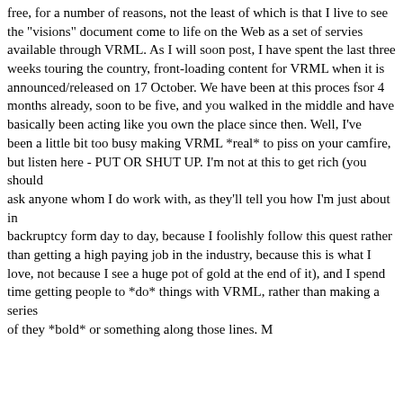free, for a number of reasons, not the least of which is that I live to see the "visions" document come to life on the Web as a set of servies available through VRML. As I will soon post, I have spent the last three weeks touring the country, front-loading content for VRML when it is announced/released on 17 October. We have been at this proces fsor 4 months already, soon to be five, and you walked in the middle and have basically been acting like you own the place since then. Well, I've been a little bit too busy making VRML *real* to piss on your camfire, but listen here - PUT OR SHUT UP. I'm not at this to get rich (you should ask anyone whom I do work with, as they'll tell you how I'm just about in backruptcy form day to day, because I foolishly follow this quest rather than getting a high paying job in the industry, because this is what I love, not because I see a huge pot of gold at the end of it), and I spend time getting people to *do* things with VRML, rather than making a series of they *bold* or something along those lines. M...